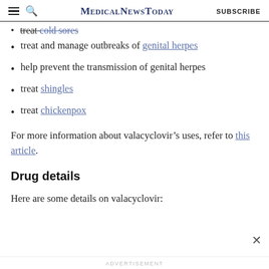MedicalNewsToday | SUBSCRIBE
treat cold sores
treat and manage outbreaks of genital herpes
help prevent the transmission of genital herpes
treat shingles
treat chickenpox
For more information about valacyclovir’s uses, refer to this article.
Drug details
Here are some details on valacyclovir:
ADVERTISEMENT